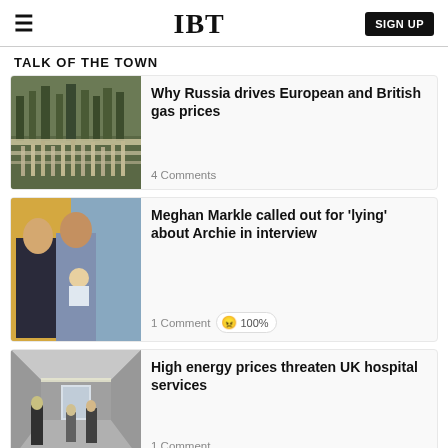IBT | SIGN UP
TALK OF THE TOWN
[Figure (photo): Industrial gas pipeline infrastructure with trees in background]
Why Russia drives European and British gas prices
4 Comments
[Figure (photo): Meghan Markle and Prince Harry with baby Archie]
Meghan Markle called out for 'lying' about Archie in interview
1 Comment 😠 100%
[Figure (photo): Hospital corridor with people walking]
High energy prices threaten UK hospital services
1 Comment